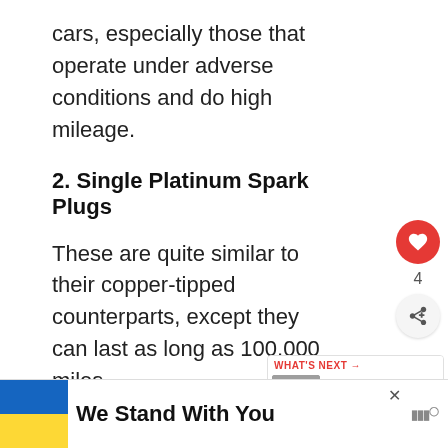cars, especially those that operate under adverse conditions and do high mileage.
2. Single Platinum Spark Plugs
These are quite similar to their copper-tipped counterparts, except they can last as long as 100,000 miles.
Featuring a much harder wear platinum tipped electrode, they
[Figure (infographic): Ad banner with Ukrainian flag colors (blue and yellow) and text 'We Stand With You']